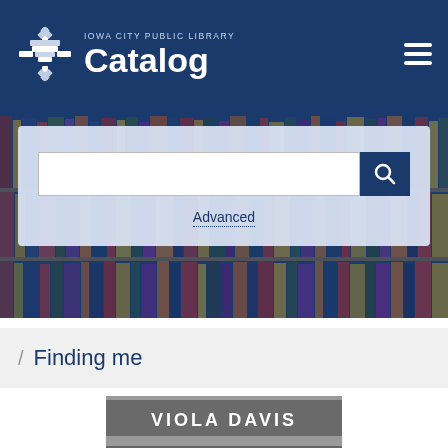IOWA CITY PUBLIC LIBRARY Catalog
[Figure (screenshot): Library catalog search interface with search bar and Advanced link over a bookshelf background image]
/ Finding me
[Figure (photo): Book cover for 'Finding Me' by Viola Davis — black and white close-up of eyes with 'VIOLA DAVIS' text in white]